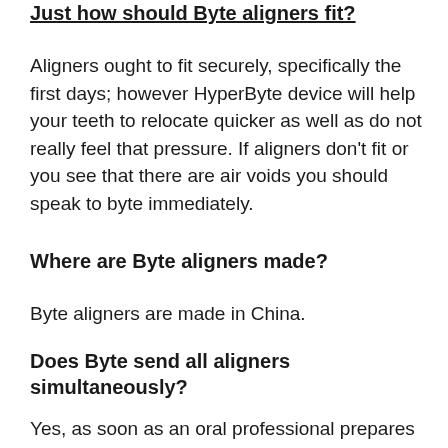Just how should Byte aligners fit?
Aligners ought to fit securely, specifically the first days; however HyperByte device will help your teeth to relocate quicker as well as do not really feel that pressure. If aligners don’t fit or you see that there are air voids you should speak to byte immediately.
Where are Byte aligners made?
Byte aligners are made in China.
Does Byte send all aligners simultaneously?
Yes, as soon as an oral professional prepares your therapy and the aligners are made, the